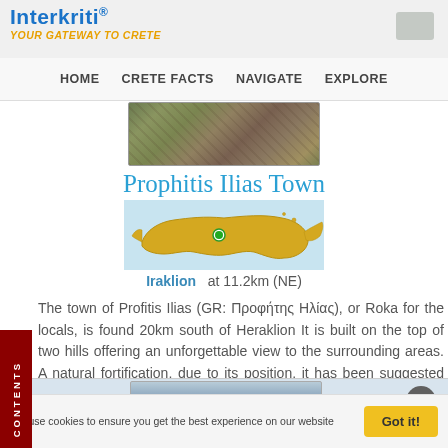Interkriti® YOUR GATEWAY TO CRETE
HOME  CRETE FACTS  NAVIGATE  EXPLORE
[Figure (photo): Aerial photograph of a town in Crete showing buildings and landscape from above]
Prophitis Ilias Town
[Figure (map): Map of Crete showing location of Prophitis Ilias / Iraklion marked with a green dot]
Iraklion  at 11.2km (NE)
The town of Profitis Ilias (GR: Προφήτης Ηλίας), or Roka for the locals, is found 20km south of Heraklion It is built on the top of two hills offering an unforgettable view to the surrounding areas. A natural fortification, due to its position, it has been suggested that ancient Lycastos was built here. It
[Figure (photo): Partial view of another photograph at the bottom of the page]